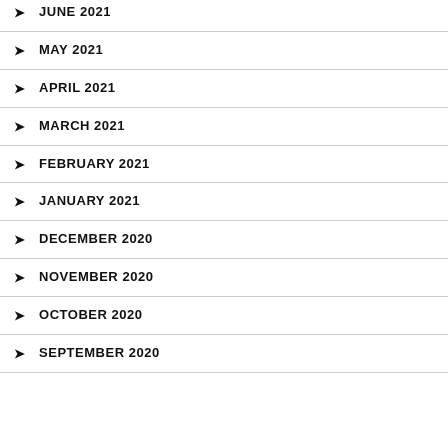JUNE 2021
MAY 2021
APRIL 2021
MARCH 2021
FEBRUARY 2021
JANUARY 2021
DECEMBER 2020
NOVEMBER 2020
OCTOBER 2020
SEPTEMBER 2020